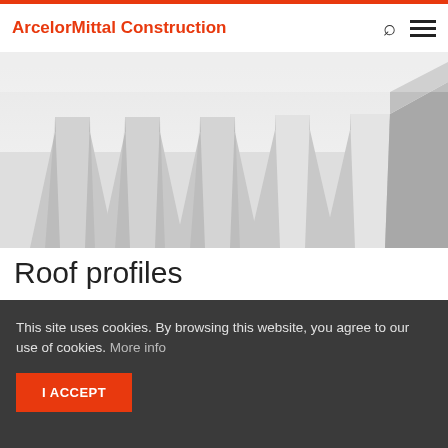ArcelorMittal Construction
[Figure (photo): Close-up photo of corrugated/trapezoidal metal roof profiles made from prepainted steel, showing multiple ridges and folds in silver/grey color, viewed at an angle.]
Roof profiles
Arcelormitttal offers a wide variety of roof cladding profiles made from prepainted steel: the Trapeza® range comprises classical trapezoidal profiles, Frequence® is our sinusoidal profile range, Halny® are profiles with a roof tile effect, Mauka® line and
This site uses cookies. By browsing this website, you agree to our use of cookies. More info
I ACCEPT